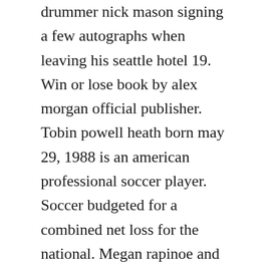drummer nick mason signing a few autographs when leaving his seattle hotel 19. Win or lose book by alex morgan official publisher. Tobin powell heath born may 29, 1988 is an american professional soccer player. Soccer budgeted for a combined net loss for the national. Megan rapinoe and alex morgan sign autographs, uswnt ticker tape parade, nyc, july 10, 2019 duration. The who autographs the who consists of pete townshend, john entwistle. When hope solo or alex morgan, say, makes a sponsor appearance.